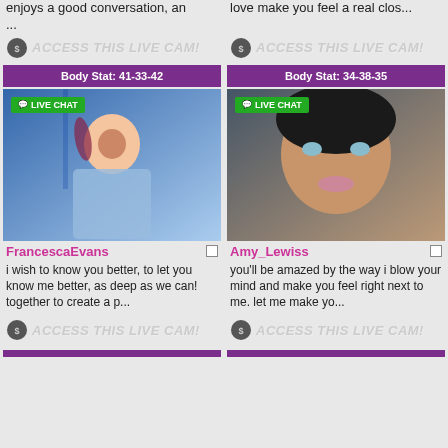enjoys a good conversation, an
love make you feel a real clos...
...
ACCESS THIS LIVE CAM!
ACCESS THIS LIVE CAM!
Body Stat: 41-33-42
Body Stat: 34-38-35
[Figure (photo): Live cam thumbnail of FrancescaEvans with LIVE CHAT badge]
[Figure (photo): Live cam thumbnail of Amy_Lewiss with LIVE CHAT badge]
FrancescaEvans
Amy_Lewiss
i wish to know you better, to let you know me better, as deep as we can! together to create a p...
you'll be amazed by the way i blow your mind and make you feel right next to me. let me make yo...
ACCESS THIS LIVE CAM!
ACCESS THIS LIVE CAM!